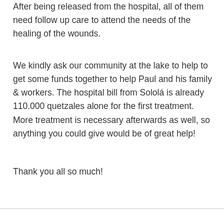After being released from the hospital, all of them need follow up care to attend the needs of the healing of the wounds.
We kindly ask our community at the lake to help to get some funds together to help Paul and his family & workers. The hospital bill from Sololá is already 110.000 quetzales alone for the first treatment. More treatment is necessary afterwards as well, so anything you could give would be of great help!
Thank you all so much!